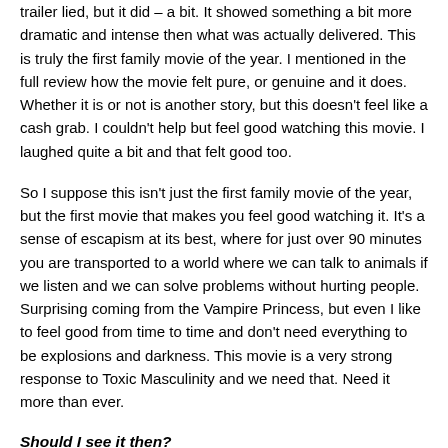trailer lied, but it did – a bit. It showed something a bit more dramatic and intense then what was actually delivered. This is truly the first family movie of the year. I mentioned in the full review how the movie felt pure, or genuine and it does. Whether it is or not is another story, but this doesn't feel like a cash grab. I couldn't help but feel good watching this movie. I laughed quite a bit and that felt good too.
So I suppose this isn't just the first family movie of the year, but the first movie that makes you feel good watching it. It's a sense of escapism at its best, where for just over 90 minutes you are transported to a world where we can talk to animals if we listen and we can solve problems without hurting people. Surprising coming from the Vampire Princess, but even I like to feel good from time to time and don't need everything to be explosions and darkness. This movie is a very strong response to Toxic Masculinity and we need that. Need it more than ever.
Should I see it then?
Yeah I think you should. Take the partner, take the kids, take other people's kids. People you know sheesh! This is a good